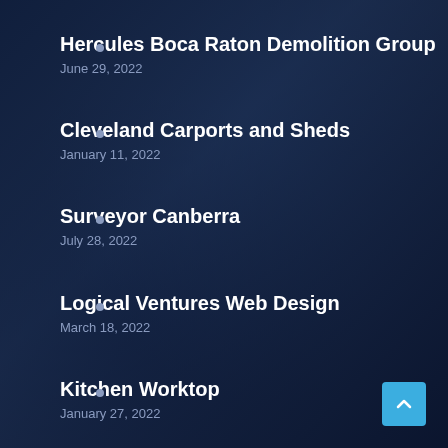Hercules Boca Raton Demolition Group
June 29, 2022
Cleveland Carports and Sheds
January 11, 2022
Surveyor Canberra
July 28, 2022
Logical Ventures Web Design
March 18, 2022
Kitchen Worktop
January 27, 2022